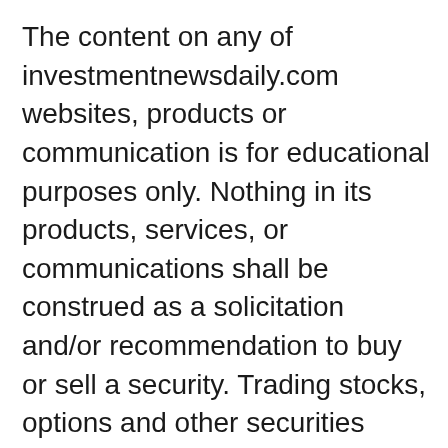The content on any of investmentnewsdaily.com websites, products or communication is for educational purposes only. Nothing in its products, services, or communications shall be construed as a solicitation and/or recommendation to buy or sell a security. Trading stocks, options and other securities involves risk. The risk of loss in trading securities can be substantial. The risk involved with trading stocks, options and other securities is not suitable for all investors. Prior to buying or selling an option, an investor must evaluate his/her own personal financial situation and consider all relevant risk factors. See: Characteristics and Risks of Standardized Options